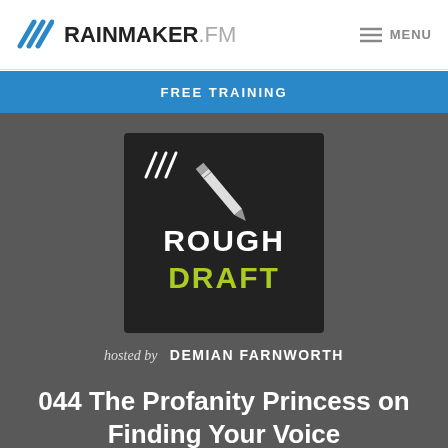RAINMAKER.FM  MENU
FREE TRAINING
[Figure (logo): Rough Draft podcast logo — dark square with pencil illustration, text ROUGH in white and DRAFT in yellow-green, small diagonal lines icon in top-left corner. Hosted by Demian Farnworth.]
hosted by  DEMIAN FARNWORTH
044 The Profanity Princess on Finding Your Voice